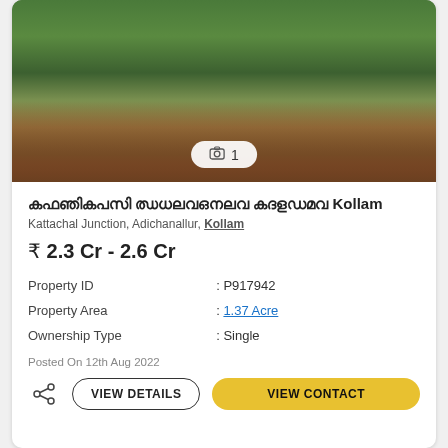[Figure (photo): Photo of a dirt road path through green land with trees and vegetation; a photo counter badge showing camera icon and '1' overlaid at the bottom center]
കൃഷിഭൂമി വില്പനക്ക് Kollam
Kattachal Junction, Adichanallur, Kollam
₹ 2.3 Cr - 2.6 Cr
| Property ID | : P917942 |
| Property Area | : 1.37 Acre |
| Ownership Type | : Single |
Posted On 12th Aug 2022
VIEW DETAILS | VIEW CONTACT